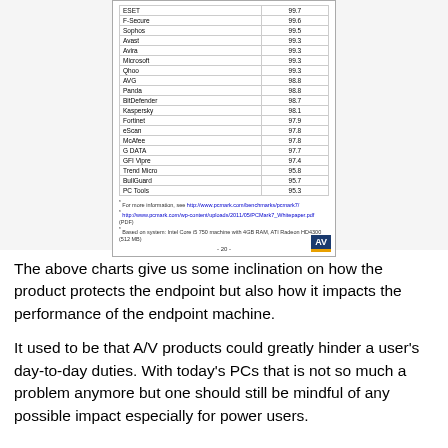[Figure (table-as-image): Cropped document showing a table of antivirus products with detection scores, footnotes referencing pcmark7 benchmark URLs, system info, and an AV badge.]
| Product | Score |
| --- | --- |
| ESET | 99.7 |
| F-Secure | 99.6 |
| Sophos | 99.5 |
| Avast | 99.3 |
| Avira | 99.3 |
| Microsoft | 99.3 |
| G Data (Qhoo?) | 99.3 |
| AVG | 98.8 |
| Panda | 98.8 |
| BitDefender | 98.7 |
| Kaspersky | 98.1 |
| Fortinet | 97.9 |
| eScan | 97.8 |
| McAfee | 97.8 |
| G DATA | 97.7 |
| GFI Vipre | 97.4 |
| Trend Micro | 95.8 |
| BullGuard | 95.7 |
| PC Tools | 95.3 |
* For more information, see http://www.pcmark.com/benchmarks/pcmark7/ * http://www.pcmark.com/wp-content/uploads/2011/05/PCMark7_Whitepaper.pdf (PDF) * Based on system: Intel Core i5 750 machine with 4GB RAM, ATI Radeon HD4300 (512 MB)
The above charts give us some inclination on how the product protects the endpoint but also how it impacts the performance of the endpoint machine.
It used to be that A/V products could greatly hinder a user's day-to-day duties. With today's PCs that is not so much a problem anymore but one should still be mindful of any possible impact especially for power users.